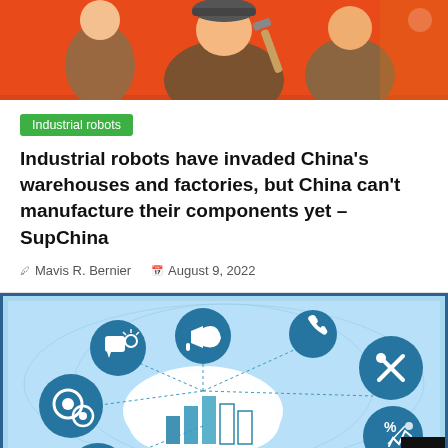[Figure (illustration): Orange background illustration showing industrial worker/robot figures at the top of the page]
Industrial robots
Industrial robots have invaded China's warehouses and factories, but China can't manufacture their components yet – SupChina
Mavis R. Bernier   August 9, 2022
[Figure (infographic): Blue-themed digital marketing/business infographic with teal circular icons (power/chat, megaphone, phone, tools/wrench, gears, percentage/analytics) connected by dashed lines to a central cloud with bar chart icons]